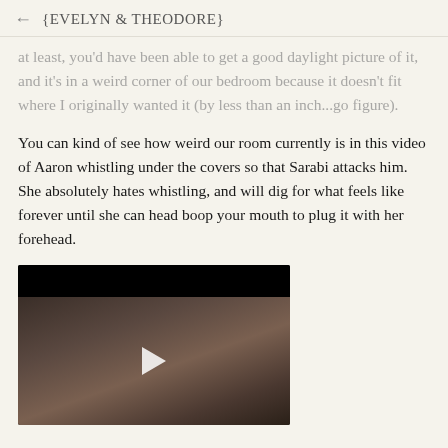← {EVELYN & THEODORE}
at least, you'd have been able to get a good daylight picture of it, and it's in a weird corner of our bedroom because it doesn't fit where I originally wanted it (by less than an inch...go figure).
You can kind of see how weird our room currently is in this video of Aaron whistling under the covers so that Sarabi attacks him. She absolutely hates whistling, and will dig for what feels like forever until she can head boop your mouth to plug it with her forehead.
[Figure (photo): A video thumbnail showing a dark bedroom scene with rumpled bedding, with a black bar at the top and a white play button triangle in the center.]